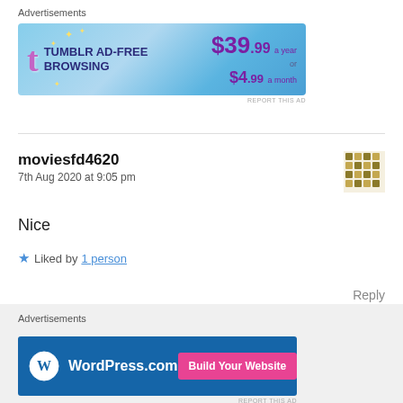[Figure (screenshot): Tumblr AD-FREE Browsing banner ad — $39.99 a year or $4.99 a month]
moviesfd4620
7th Aug 2020 at 9:05 pm
Nice
Liked by 1 person
Reply
[Figure (screenshot): WordPress.com Build Your Website banner ad]